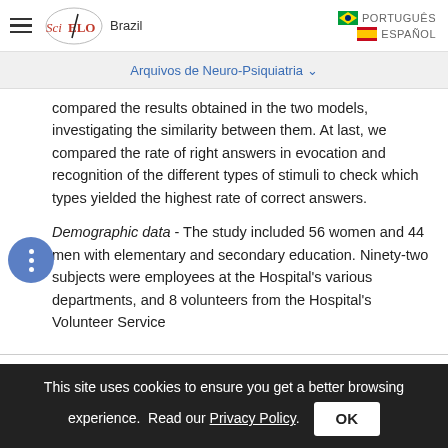SciELO Brazil | Arquivos de Neuro-Psiquiatria
compared the results obtained in the two models, investigating the similarity between them. At last, we compared the rate of right answers in evocation and recognition of the different types of stimuli to check which types yielded the highest rate of correct answers.
Demographic data - The study included 56 women and 44 men with elementary and secondary education. Ninety-two subjects were employees at the Hospital's various departments, and 8 volunteers from the Hospital's Volunteer Service
This site uses cookies to ensure you get a better browsing experience. Read our Privacy Policy.